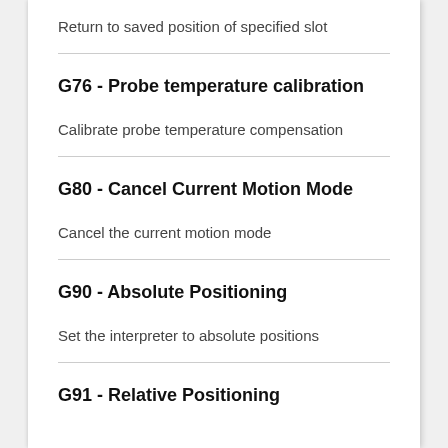Return to saved position of specified slot
G76 - Probe temperature calibration
Calibrate probe temperature compensation
G80 - Cancel Current Motion Mode
Cancel the current motion mode
G90 - Absolute Positioning
Set the interpreter to absolute positions
G91 - Relative Positioning